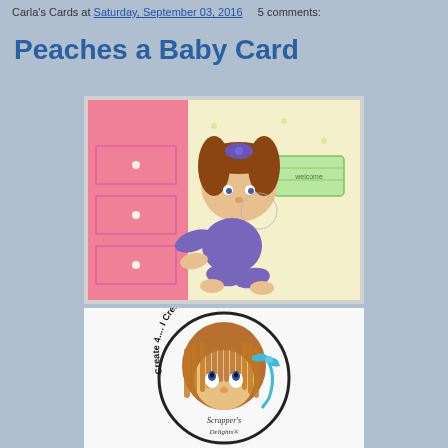Carla's Cards at Saturday, September 03, 2016    5 comments:
Peaches a Baby Card
[Figure (photo): A handmade baby card featuring a large illustrated baby girl with brown pigtails and a purple bow, wearing a purple outfit, crawling. The card has a pink panel on the left with pearl embellishments, and a yellow patterned paper background on the right with a green 'Welcome' tag.]
[Figure (logo): A circular logo reading 'Create 4.... I Create 4.... I Create' around the border, featuring an illustrated girl with brown hair and a blue bow headband looking upward. Text at the bottom reads 'Scrapper's' and partially visible text below.]